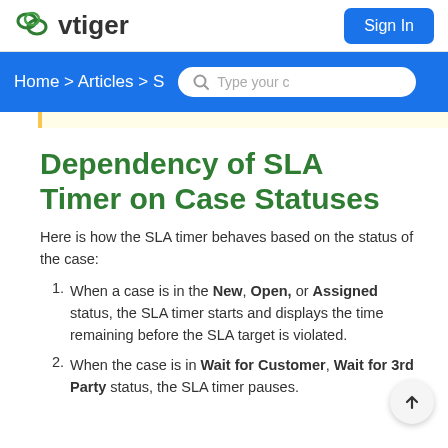[Figure (logo): vtiger logo with cloud icon in green and dark text]
Sign In
Home > Articles > S
Dependency of SLA Timer on Case Statuses
Here is how the SLA timer behaves based on the status of the case:
When a case is in the New, Open, or Assigned status, the SLA timer starts and displays the time remaining before the SLA target is violated.
When the case is in Wait for Customer, Wait for 3rd Party status, the SLA timer pauses.